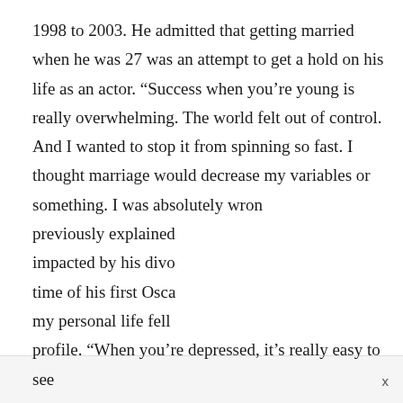1998 to 2003. He admitted that getting married when he was 27 was an attempt to get a hold on his life as an actor. “Success when you’re young is really overwhelming. The world felt out of control. And I wanted to stop it from spinning so fast. I thought marriage would decrease my variables or something. I was absolutely wron
previously explained
impacted by his divo
time of his first Osca
my personal life fell
profile. “When you’re depressed, it’s really easy to see